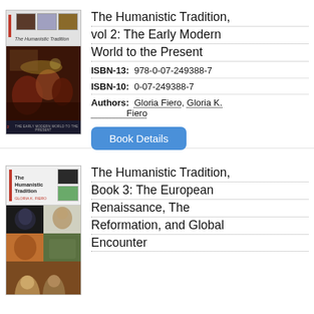[Figure (photo): Book cover of The Humanistic Tradition vol 2, showing a Toulouse-Lautrec style painting of people in a cafe/dance hall, with thumbnail images at top]
The Humanistic Tradition, vol 2: The Early Modern World to the Present
ISBN-13: 978-0-07-249388-7
ISBN-10: 0-07-249388-7
Authors: Gloria Fiero, Gloria K. Fiero
Book Details
[Figure (photo): Book cover of The Humanistic Tradition Book 3 with checkerboard layout of art images including Renaissance portraits]
The Humanistic Tradition, Book 3: The European Renaissance, The Reformation, and Global Encounter